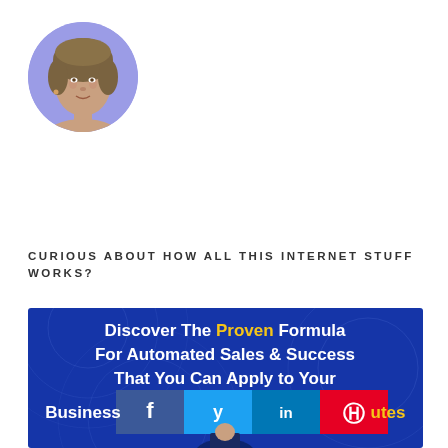[Figure (photo): Circular profile photo of a woman with short hair, set against a lavender/periwinkle circular background]
CURIOUS ABOUT HOW ALL THIS INTERNET STUFF WORKS?
[Figure (infographic): Blue banner ad reading 'Discover The Proven Formula For Automated Sales & Success That You Can Apply to Your Business in Minutes' with social media share buttons (Facebook, Twitter, LinkedIn, Pinterest) overlaid in the middle, and a man visible at the bottom]